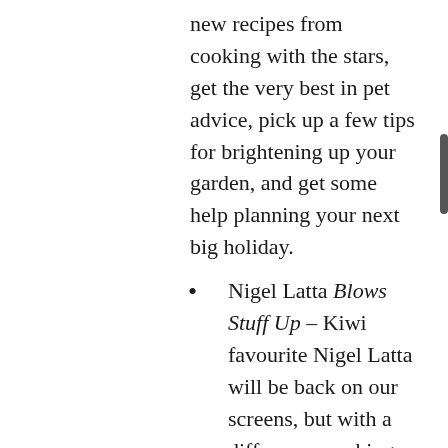new recipes from cooking with the stars, get the very best in pet advice, pick up a few tips for brightening up your garden, and get some help planning your next big holiday.
Nigel Latta Blows Stuff Up – Kiwi favourite Nigel Latta will be back on our screens, but with a difference; making science fun for the whole family. Expect to see what happens when a house burns down, and an explanation of what happens when you get hit with 10,000 volts of electricity.
I Am Innocent – a chilling new documentary series telling the stories of six New Zealanders whose lives were shattered after being wrongfully imprisoned for crimes they didn't commit.
...